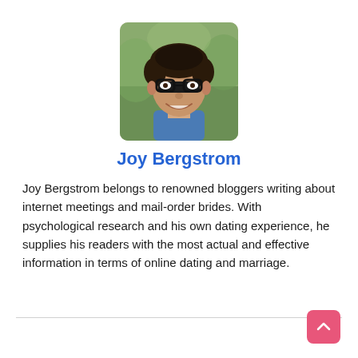[Figure (photo): Headshot photo of a young man with dark curly hair, wearing black-rimmed glasses, smiling, with a blurred outdoor background. Rounded rectangle crop.]
Joy Bergstrom
Joy Bergstrom belongs to renowned bloggers writing about internet meetings and mail-order brides. With psychological research and his own dating experience, he supplies his readers with the most actual and effective information in terms of online dating and marriage.